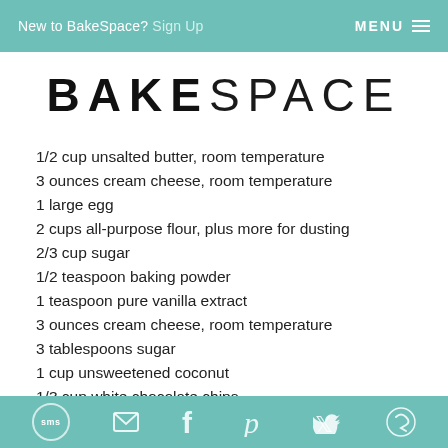New to BakeSpace? Sign Up   MENU
BAKESPACE
1/2 cup unsalted butter, room temperature
3 ounces cream cheese, room temperature
1 large egg
2 cups all-purpose flour, plus more for dusting
2/3 cup sugar
1/2 teaspoon baking powder
1 teaspoon pure vanilla extract
3 ounces cream cheese, room temperature
3 tablespoons sugar
1 cup unsweetened coconut
1/3 cup white chocolate chips
1 large egg, lightly beaten
sms  email  facebook  pinterest  twitter  other-social